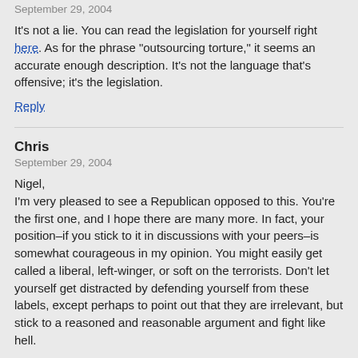September 29, 2004
It's not a lie. You can read the legislation for yourself right here. As for the phrase "outsourcing torture," it seems an accurate enough description. It's not the language that's offensive; it's the legislation.
Reply
Chris
September 29, 2004
Nigel,
I'm very pleased to see a Republican opposed to this. You're the first one, and I hope there are many more. In fact, your position–if you stick to it in discussions with your peers–is somewhat courageous in my opinion. You might easily get called a liberal, left-winger, or soft on the terrorists. Don't let yourself get distracted by defending yourself from these labels, except perhaps to point out that they are irrelevant, but stick to a reasoned and reasonable argument and fight like hell.
Reply